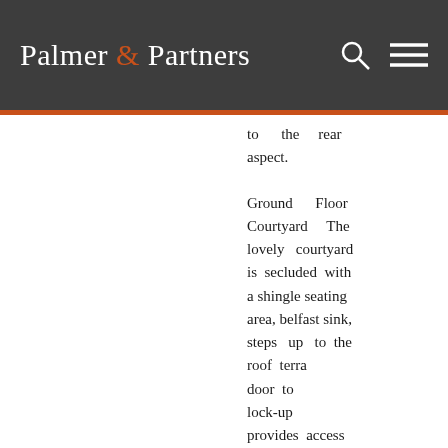Palmer & Partners
to the rear aspect.
Ground Floor Courtyard The lovely courtyard is secluded with a shingle seating area, belfast sink, steps up to the roof terrace, door to lock-up provides access to the rear street.
First Floor Landing Electric wall mounted heater, stairs to the